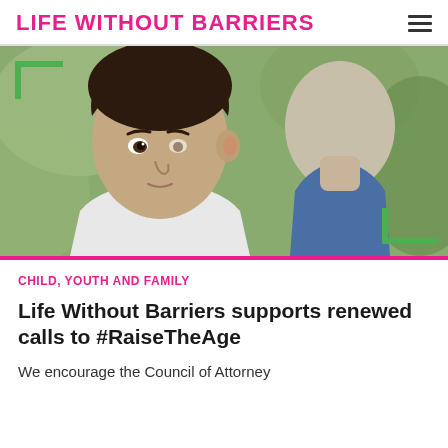LIFE WITHOUT BARRIERS
[Figure (photo): Close-up photo of a young boy with dark hair looking sideways at the camera, with another person in a blue shirt visible in the background. Green corner bracket decorations in top-left and bottom-right corners of the image.]
CHILD, YOUTH AND FAMILY
Life Without Barriers supports renewed calls to #RaiseTheAge
We encourage the Council of Attorney